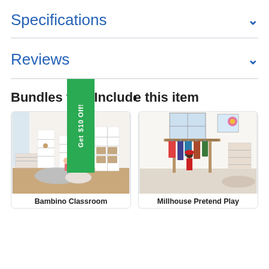Specifications
Reviews
Bundles that Include this item
[Figure (photo): Photo of a Bambino Classroom children's furniture set with white shelves, toy storage, and play area]
Bambino Classroom
[Figure (photo): Photo of a Millhouse Pretend Play area with children dressing up with costumes on a wooden rack]
Millhouse Pretend Play